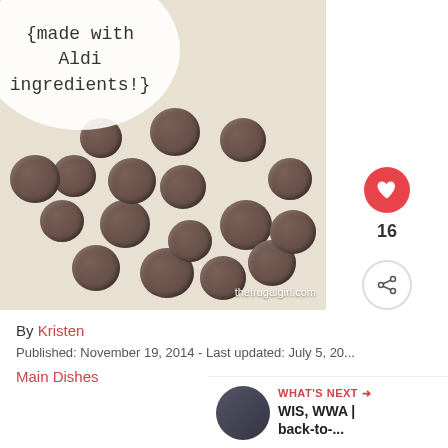[Figure (photo): Overhead photo of meatballs in cream sauce in a dark pan, with a circular white badge overlay reading '(made with Aldi ingredients!)' and watermark 'thefrugalgirl.com']
By Kristen
Published: November 19, 2014 - Last updated: July 5, 20...
Main Dishes